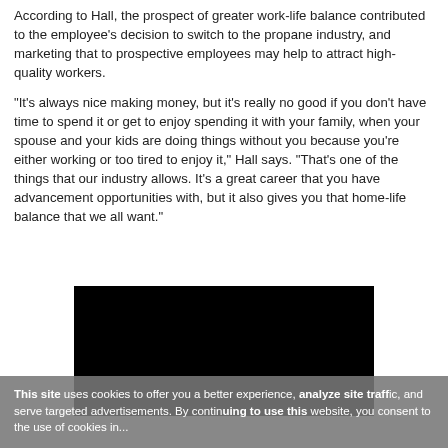According to Hall, the prospect of greater work-life balance contributed to the employee's decision to switch to the propane industry, and marketing that to prospective employees may help to attract high-quality workers.
“It’s always nice making money, but it’s really no good if you don’t have time to spend it or get to enjoy spending it with your family, when your spouse and your kids are doing things without you because you’re either working or too tired to enjoy it,” Hall says. “That’s one of the things that our industry allows. It’s a great career that you have advancement opportunities with, but it also gives you that home-life balance that we all want.”
[Figure (photo): Black rectangle representing an embedded video or image placeholder]
This site uses cookies to offer you a better experience, analyze site traffic, and serve targeted advertisements. By continuing to use this website, you consent to the use of cookies in...